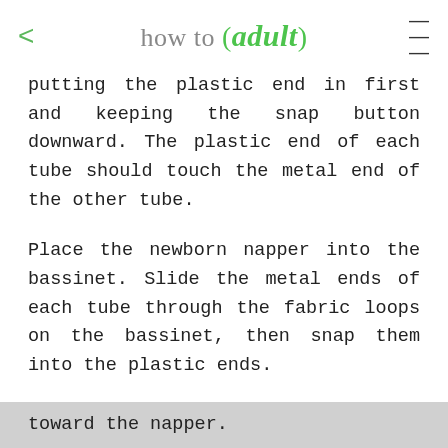how to (adult)
putting the plastic end in first and keeping the snap button downward. The plastic end of each tube should touch the metal end of the other tube.
Place the newborn napper into the bassinet. Slide the metal ends of each tube through the fabric loops on the bassinet, then snap them into the plastic ends.
Plug the cord from the vibrator unit into the electronic module. Snap the electronics module onto side of the play yard with the light facing in toward the napper.